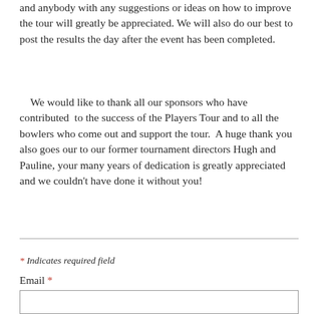and anybody with any suggestions or ideas on how to improve the tour will greatly be appreciated. We will also do our best to post the results the day after the event has been completed.
We would like to thank all our sponsors who have contributed to the success of the Players Tour and to all the bowlers who come out and support the tour. A huge thank you also goes our to our former tournament directors Hugh and Pauline, your many years of dedication is greatly appreciated and we couldn't have done it without you!
* Indicates required field
Email *